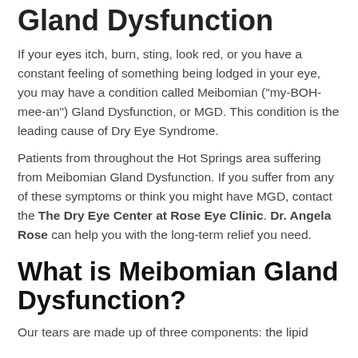Gland Dysfunction
If your eyes itch, burn, sting, look red, or you have a constant feeling of something being lodged in your eye, you may have a condition called Meibomian ("my-BOH-mee-an") Gland Dysfunction, or MGD. This condition is the leading cause of Dry Eye Syndrome.
Patients from throughout the Hot Springs area suffering from Meibomian Gland Dysfunction. If you suffer from any of these symptoms or think you might have MGD, contact the The Dry Eye Center at Rose Eye Clinic. Dr. Angela Rose can help you with the long-term relief you need.
What is Meibomian Gland Dysfunction?
Our tears are made up of three components: the lipid